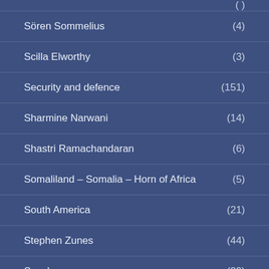Sören Sommelius (4)
Scilla Elworthy (3)
Security and defence (151)
Sharmine Narwani (14)
Shastri Ramachandaran (6)
Somaliland – Somalia – Horn of Africa (5)
South America (21)
Stephen Zunes (44)
Sweden (39)